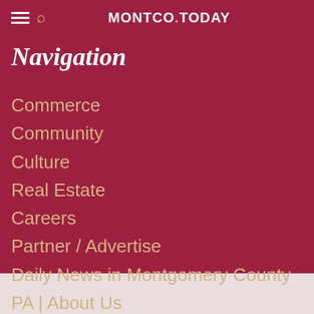MONTCO.TODAY
Navigation
Commerce
Community
Culture
Real Estate
Careers
Partner / Advertise
Daily News in Montgomery County PA | About Us